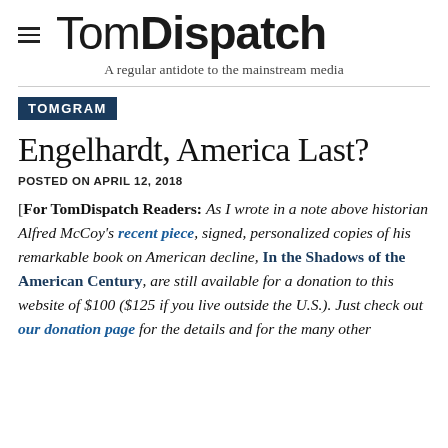TomDispatch
A regular antidote to the mainstream media
TOMGRAM
Engelhardt, America Last?
POSTED ON APRIL 12, 2018
[For TomDispatch Readers: As I wrote in a note above historian Alfred McCoy's recent piece, signed, personalized copies of his remarkable book on American decline, In the Shadows of the American Century, are still available for a donation to this website of $100 ($125 if you live outside the U.S.). Just check out our donation page for the details and for the many other